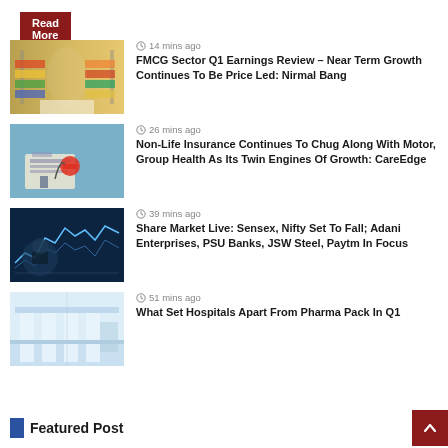Read More »
14 mins ago — FMCG Sector Q1 Earnings Review – Near Term Growth Continues To Be Price Led: Nirmal Bang
26 mins ago — Non-Life Insurance Continues To Chug Along With Motor, Group Health As Its Twin Engines Of Growth: CareEdge
39 mins ago — Share Market Live: Sensex, Nifty Set To Fall; Adani Enterprises, PSU Banks, JSW Steel, Paytm In Focus
51 mins ago — What Set Hospitals Apart From Pharma Pack In Q1
Featured Post